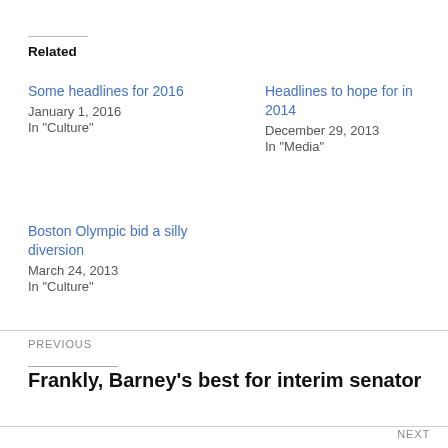Related
Some headlines for 2016
January 1, 2016
In "Culture"
Headlines to hope for in 2014
December 29, 2013
In "Media"
Boston Olympic bid a silly diversion
March 24, 2013
In "Culture"
PREVIOUS
Frankly, Barney’s best for interim senator
NEXT